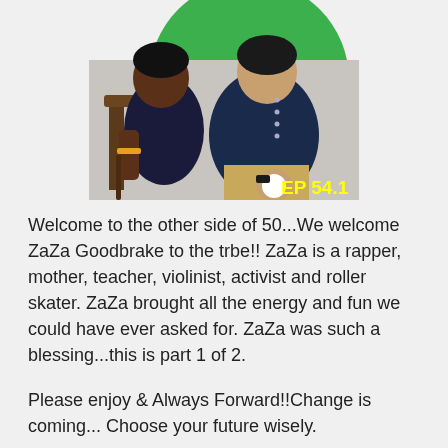[Figure (illustration): Illustrated image of two people in a podcast/conversation setting with a green circular background. Bottom right corner shows 'EP 54.1' in yellow bold text.]
Welcome to the other side of 50...We welcome ZaZa Goodbrake to the trbe!! ZaZa is a rapper, mother, teacher, violinist, activist and roller skater. ZaZa brought all the energy and fun we could have ever asked for. ZaZa was such a blessing...this is part 1 of 2.
Please enjoy & Always Forward!!Change is coming... Choose your future wisely.
...Welcome Home #TMN